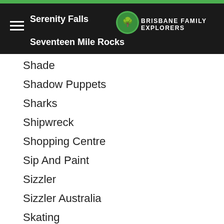Serenity Falls / Seventeen Mile Rocks — Brisbane Family Explorers
Shade
Shadow Puppets
Sharks
Shipwreck
Shopping Centre
Sip And Paint
Sizzler
Sizzler Australia
Skating
Skating At Festival
Skyclimb
Skydiving
Skygate
Skypoint
Skyzone
Skyzone Australia
Skye Rock Colour (partial)